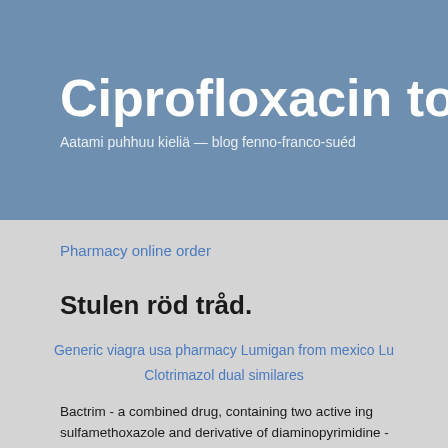Ciprofloxacin to
Aatami puhhuu kieliä — blog fenno-franco-suéd
Pharmacy online order
Stulen röd tråd.
Generic viagra usa pharmacy Lumigan from mexico Lu Clotrimazol dual similares
Bactrim - a combined drug, containing two active ing sulfamethoxazole and derivative of diaminopyrimidine - life activity oppresses that leads to reduction of synthe